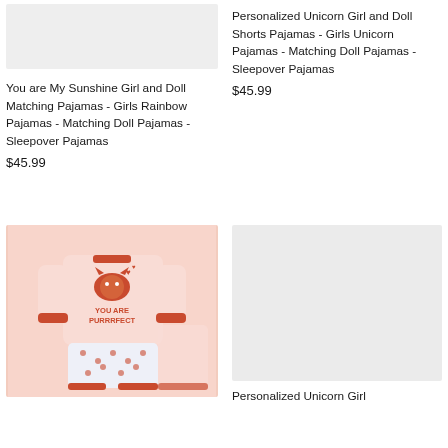[Figure (photo): Product image placeholder for You are My Sunshine Girl and Doll Matching Pajamas]
You are My Sunshine Girl and Doll Matching Pajamas - Girls Rainbow Pajamas - Matching Doll Pajamas - Sleepover Pajamas
$45.99
Personalized Unicorn Girl and Doll Shorts Pajamas - Girls Unicorn Pajamas - Matching Doll Pajamas - Sleepover Pajamas
$45.99
[Figure (photo): Photo of You Are Purrrfect cat-themed pink children's pajamas set with red cat graphic and patterned pants]
[Figure (photo): Product image placeholder for Personalized Unicorn Girl pajamas]
Personalized Unicorn Girl